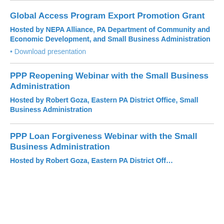Global Access Program Export Promotion Grant
Hosted by NEPA Alliance, PA Department of Community and Economic Development, and Small Business Administration
Download presentation
PPP Reopening Webinar with the Small Business Administration
Hosted by Robert Goza, Eastern PA District Office, Small Business Administration
PPP Loan Forgiveness Webinar with the Small Business Administration
Hosted by Robert Goza, Eastern PA District Off…